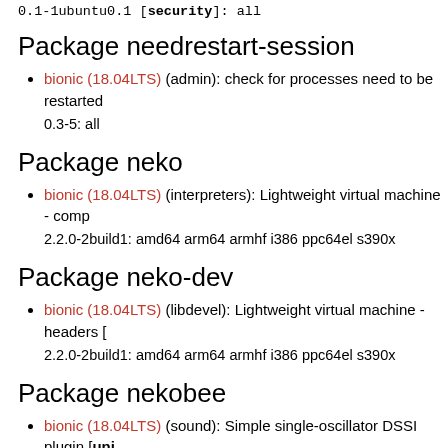0.1-1ubuntu0.1 [security]: all
Package needrestart-session
bionic (18.04LTS) (admin): check for processes need to be restarted 0.3-5: all
Package neko
bionic (18.04LTS) (interpreters): Lightweight virtual machine - comp 2.2.0-2build1: amd64 arm64 armhf i386 ppc64el s390x
Package neko-dev
bionic (18.04LTS) (libdevel): Lightweight virtual machine - headers 2.2.0-2build1: amd64 arm64 armhf i386 ppc64el s390x
Package nekobee
bionic (18.04LTS) (sound): Simple single-oscillator DSSI plugin [uni 0.1.8~repack1-1: amd64 arm64 armhf i386 ppc64el s390x
Package nemiver